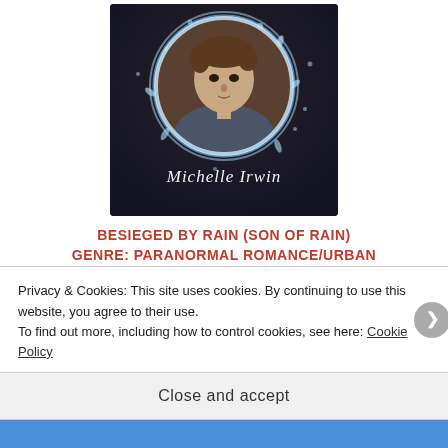[Figure (illustration): Book cover for 'Besieged by Rain (Son of Rain)' by Michelle Irwin. Dark background with a circular water splash effect framing a young man's portrait. Author name 'Michelle Irwin' written in white cursive/italic text at the bottom of the cover.]
BESIEGED BY RAIN (SON OF RAIN) GENRE: PARANORMAL ROMANCE/URBAN FANTASY
Clay Jacobs is a soldier. His family—elite members of a
Privacy & Cookies: This site uses cookies. By continuing to use this website, you agree to their use.
To find out more, including how to control cookies, see here: Cookie Policy
Close and accept